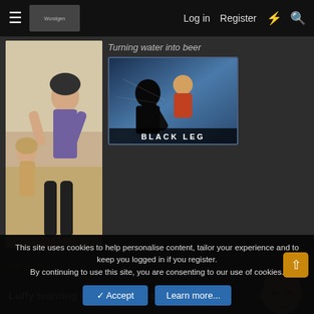Log in  Register
[Figure (screenshot): Anime character illustration - manga style figure in purple top with another figure in background on beach]
Turning water into beer
[Figure (illustration): BLACK LEG - action image with character in orange outfit on blue background with text BLACK LEG at bottom]
Mar 3, 2021
#2,928
[Figure (photo): Man's face photo - bald man with eyes closed tilted head]
Luffy teaming up with Wanji to burn Kaido
This site uses cookies to help personalise content, tailor your experience and to keep you logged in if you register.
By continuing to use this site, you are consenting to our use of cookies.